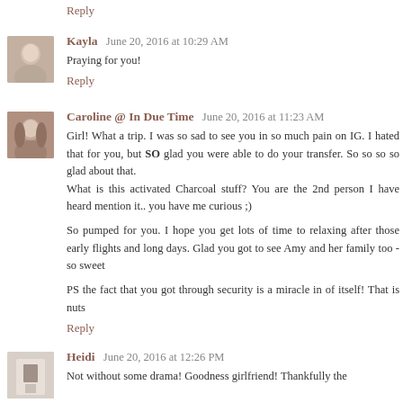Reply
Kayla  June 20, 2016 at 10:29 AM
Praying for you!
Reply
Caroline @ In Due Time  June 20, 2016 at 11:23 AM
Girl! What a trip. I was so sad to see you in so much pain on IG. I hated that for you, but SO glad you were able to do your transfer. So so so so glad about that.
What is this activated Charcoal stuff? You are the 2nd person I have heard mention it.. you have me curious ;)

So pumped for you. I hope you get lots of time to relaxing after those early flights and long days. Glad you got to see Amy and her family too - so sweet

PS the fact that you got through security is a miracle in of itself! That is nuts
Reply
Heidi  June 20, 2016 at 12:26 PM
Not without some drama! Goodness girlfriend! Thankfully the